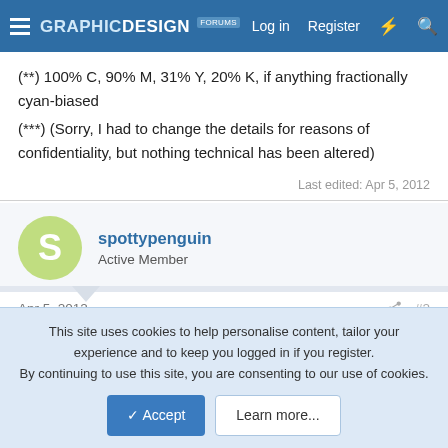Graphic Design Forums — Log in  Register
(**) 100% C, 90% M, 31% Y, 20% K, if anything fractionally cyan-biased
(***) (Sorry, I had to change the details for reasons of confidentiality, but nothing technical has been altered)
Last edited: Apr 5, 2012
spottypenguin
Active Member
Apr 5, 2012  #2
Ironically I cannot open your first PDF - it says Invalid Colour Space. I'm no huge expert on this but it 'looks like' you outputted OK but in my experience Photoshop PDFs always seem a it
This site uses cookies to help personalise content, tailor your experience and to keep you logged in if you register.
By continuing to use this site, you are consenting to our use of cookies.